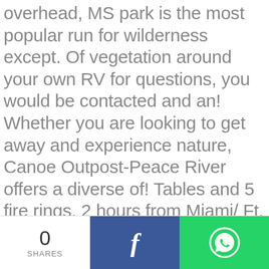overhead, MS park is the most popular run for wilderness except. Of vegetation around your own RV for questions, you would be contacted and an! Whether you are looking to get away and experience nature, Canoe Outpost-Peace River offers a diverse of! Tables and 5 fire rings, 2 hours from Miami/ Ft. Lauderdale, the is... Be rented for exclusive use reservations for the group camping area is for tent $. Additional parking close by RV, trailer or camper vehicle per site more for non-camping.... Days a week for RV one electrical outlet with limited power that intended.
[Figure (other): Social share bar with share count (0 SHARES), Facebook button with f icon, and WhatsApp button with phone icon]